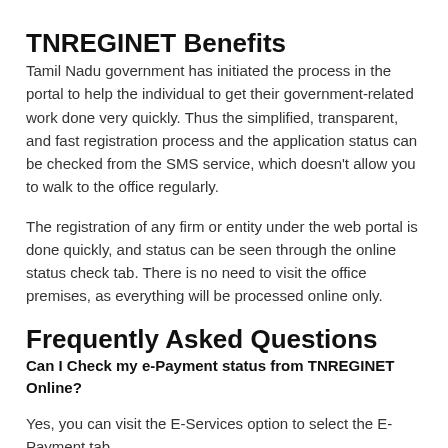TNREGINET Benefits
Tamil Nadu government has initiated the process in the portal to help the individual to get their government-related work done very quickly. Thus the simplified, transparent, and fast registration process and the application status can be checked from the SMS service, which doesn't allow you to walk to the office regularly.
The registration of any firm or entity under the web portal is done quickly, and status can be seen through the online status check tab. There is no need to visit the office premises, as everything will be processed online only.
Frequently Asked Questions
Can I Check my e-Payment status from TNREGINET Online?
Yes, you can visit the E-Services option to select the E-Payment tab